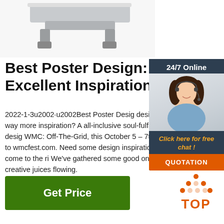[Figure (photo): Product photo of a grey/silver industrial hardware item (bracket or rail), partially cropped, white background]
Best Poster Design: 50 Excellent Inspirations
2022-1-3u2002·u2002Best Poster Design designers, want way more inspiration? A all-inclusive soul-fulfilling three-day design WMC: Off-The-Grid, this October 5 – 7th more, head to wmcfest.com. Need some design inspiration? You've come to the right place. We've gathered some good ones to get your creative juices flowing.
[Figure (photo): Sidebar widget with dark blue background showing a woman customer service agent wearing headset, with 24/7 Online header, orange chat link text, and orange QUOTATION button]
[Figure (logo): TOP logo with orange triangle dots arrangement above the text TOP in orange on white background]
Get Price